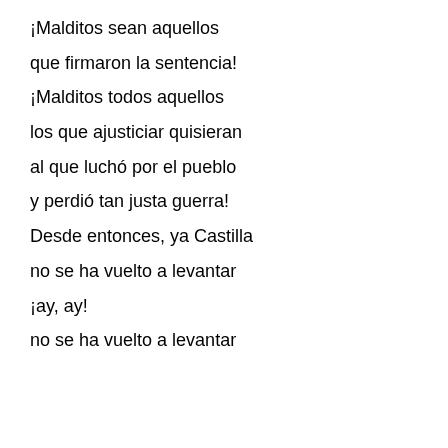¡Malditos sean aquellos
que firmaron la sentencia!
¡Malditos todos aquellos
los que ajusticiar quisieran
al que luchó por el pueblo
y perdió tan justa guerra!
Desde entonces, ya Castilla
no se ha vuelto a levantar
¡ay, ay!
no se ha vuelto a levantar